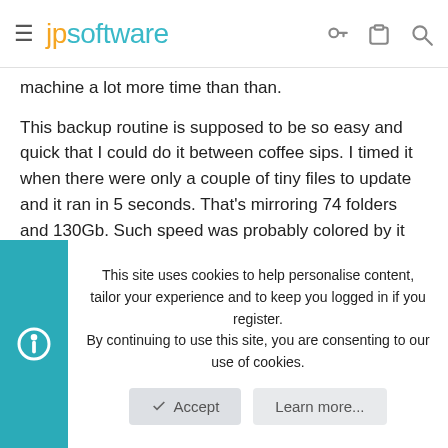jpsoftware
machine a lot more time than than.
This backup routine is supposed to be so easy and quick that I could do it between coffee sips. I timed it when there were only a couple of tiny files to update and it ran in 5 seconds. That's mirroring 74 folders and 130Gb. Such speed was probably colored by it being done not long after I had already done it the old way and so probably caching played a role.
drwtsn32
This site uses cookies to help personalise content, tailor your experience and to keep you logged in if you register.
By continuing to use this site, you are consenting to our use of cookies.